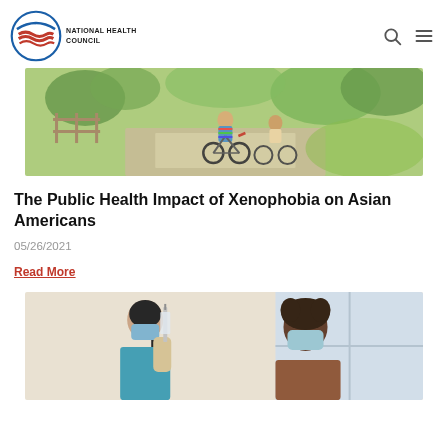National Health Council
[Figure (photo): Children riding bicycles on a park path, viewed from behind. Green trees and grass in background.]
The Public Health Impact of Xenophobia on Asian Americans
05/26/2021
Read More
[Figure (photo): A healthcare worker in teal scrubs and mask holding a syringe, preparing to administer a vaccine to a patient wearing a mask.]